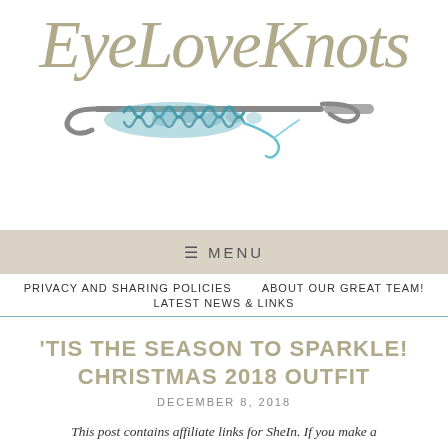[Figure (logo): EyeLoveKnots blog logo with cursive script text and illustration of a crochet hook with teal yarn stitches]
≡  MENU
PRIVACY AND SHARING POLICIES   ABOUT OUR GREAT TEAM!   LATEST NEWS & LINKS
'TIS THE SEASON TO SPARKLE! CHRISTMAS 2018 OUTFIT
DECEMBER 8, 2018
This post contains affiliate links for SheIn. If you make a